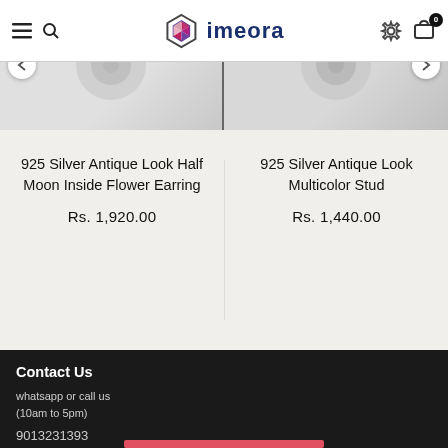imeora
[Figure (photo): Two silver earring product images side by side in a carousel, partial view at top of page]
925 Silver Antique Look Half Moon Inside Flower Earring
Rs. 1,920.00
925 Silver Antique Look Multicolor Stud
Rs. 1,440.00
Contact Us
whatsapp or call us
(10am to 5pm)

9013231393

customercare@imeora.com